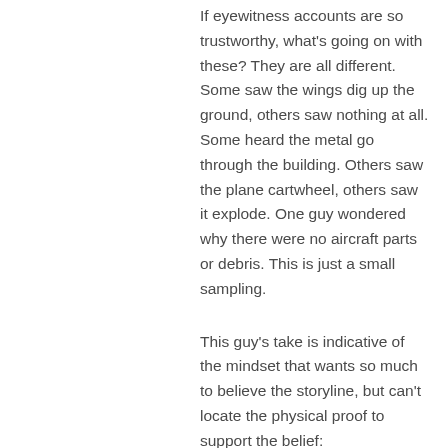If eyewitness accounts are so trustworthy, what's going on with these? They are all different. Some saw the wings dig up the ground, others saw nothing at all. Some heard the metal go through the building. Others saw the plane cartwheel, others saw it explode. One guy wondered why there were no aircraft parts or debris. This is just a small sampling.
This guy's take is indicative of the mindset that wants so much to believe the storyline, but can't locate the physical proof to support the belief: